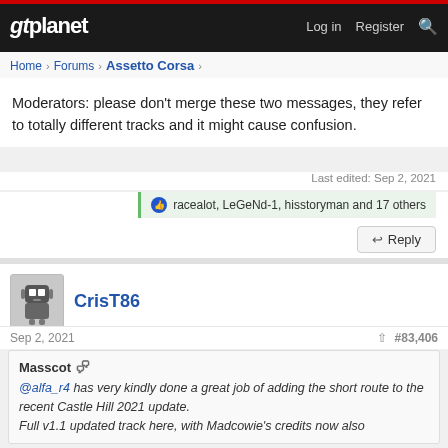gtplanet — Log in  Register
Home > Forums > Assetto Corsa >
Moderators: please don't merge these two messages, they refer to totally different tracks and it might cause confusion.
Last edited: Sep 2, 2021
racealot, LeGeNd-1, hisstoryman and 17 others
Reply
CrisT86
Sep 2, 2021   #83,406
Masscot
@alfa_r4 has very kindly done a great job of adding the short route to the recent Castle Hill 2021 update.
Full v1.1 updated track here, with Madcowie's credits now also